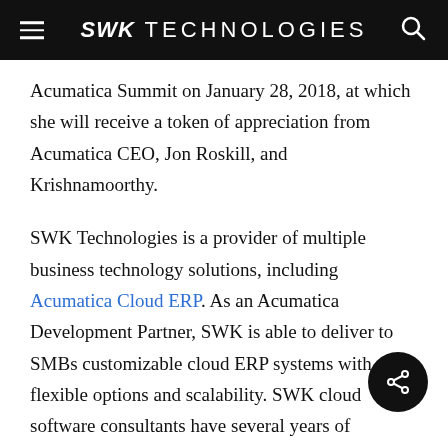SWK TECHNOLOGIES
Acumatica Summit on January 28, 2018, at which she will receive a token of appreciation from Acumatica CEO, Jon Roskill, and Krishnamoorthy.
SWK Technologies is a provider of multiple business technology solutions, including Acumatica Cloud ERP. As an Acumatica Development Partner, SWK is able to deliver to SMBs customizable cloud ERP systems with flexible options and scalability. SWK cloud software consultants have several years of